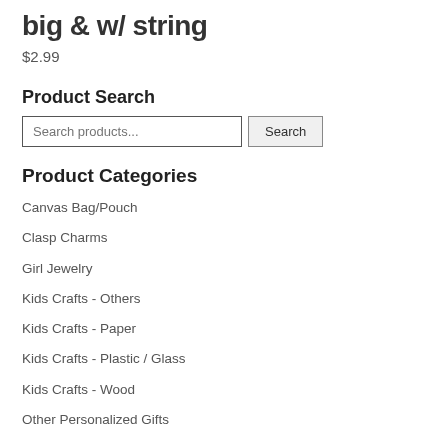big & w/ string
$2.99
Product Search
Search products... Search
Product Categories
Canvas Bag/Pouch
Clasp Charms
Girl Jewelry
Kids Crafts - Others
Kids Crafts - Paper
Kids Crafts - Plastic / Glass
Kids Crafts - Wood
Other Personalized Gifts